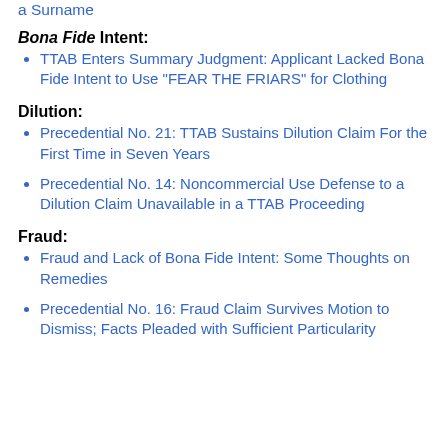a Surname
Bona Fide Intent:
TTAB Enters Summary Judgment: Applicant Lacked Bona Fide Intent to Use "FEAR THE FRIARS" for Clothing
Dilution:
Precedential No. 21: TTAB Sustains Dilution Claim For the First Time in Seven Years
Precedential No. 14: Noncommercial Use Defense to a Dilution Claim Unavailable in a TTAB Proceeding
Fraud:
Fraud and Lack of Bona Fide Intent: Some Thoughts on Remedies
Precedential No. 16: Fraud Claim Survives Motion to Dismiss; Facts Pleaded with Sufficient Particularity